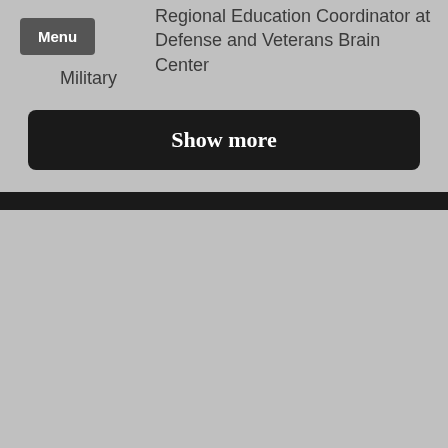Regional Education Coordinator at Defense and Veterans Brain Center
Military
Show more
[Figure (photo): Profile photo placeholder silhouette of a person on a grey background]